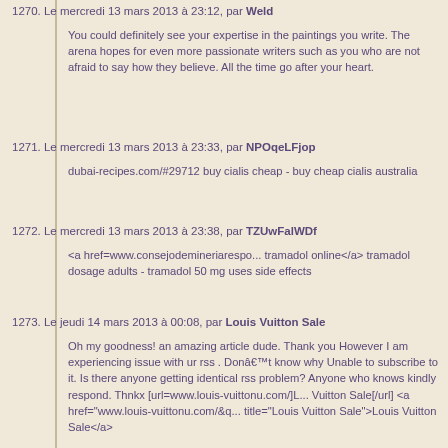1270. Le mercredi 13 mars 2013 à 23:12, par Weld
You could definitely see your expertise in the paintings you write. The arena hopes for even more passionate writers such as you who are not afraid to say how they believe. All the time go after your heart.
1271. Le mercredi 13 mars 2013 à 23:33, par NPOqeLFjop
dubai-recipes.com/#29712 buy cialis cheap - buy cheap cialis australia
1272. Le mercredi 13 mars 2013 à 23:38, par TZUwFalWDf
<a href=www.consejodemineriarespo... tramadol online</a> tramadol dosage adults - tramadol 50 mg uses side effects
1273. Le jeudi 14 mars 2013 à 00:08, par Louis Vuitton Sale
Oh my goodness! an amazing article dude. Thank you However I am experiencing issue with ur rss . Donâ€™t know why Unable to subscribe to it. Is there anyone getting identical rss problem? Anyone who knows kindly respond. Thnkx [url=www.louis-vuittonu.com/]L... Vuitton Sale[/url] <a href="www.louis-vuittonu.com/&q... title="Louis Vuitton Sale">Louis Vuitton Sale</a>